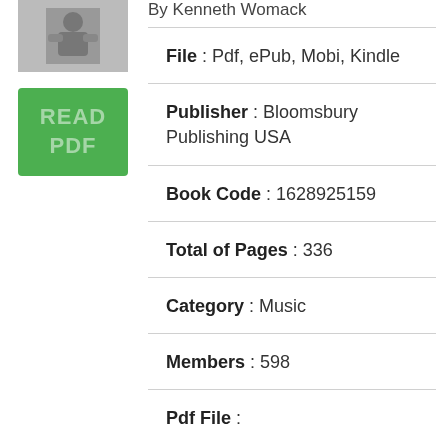[Figure (photo): Small black and white book cover thumbnail image]
[Figure (other): Green READ PDF button]
By Kenneth Womack
File : Pdf, ePub, Mobi, Kindle
Publisher : Bloomsbury Publishing USA
Book Code : 1628925159
Total of Pages : 336
Category : Music
Members : 598
Pdf File :